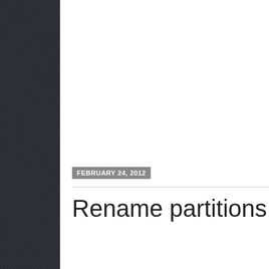FEBRUARY 24, 2012
Rename partitions on your h